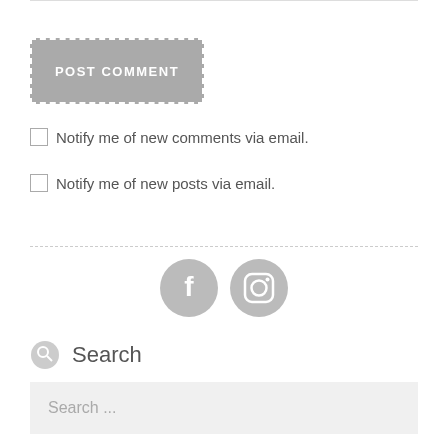[Figure (other): POST COMMENT button with dashed border on gray background]
Notify me of new comments via email.
Notify me of new posts via email.
[Figure (other): Social media icons: Facebook and Instagram circles in gray]
Search
Search ...